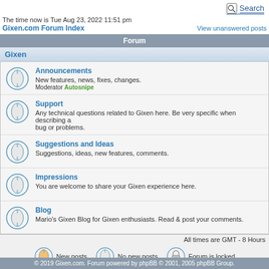Search
The time now is Tue Aug 23, 2022 11:51 pm
Gixen.com Forum Index    View unanswered posts
Forum
Gixen
Announcements - New features, news, fixes, changes. Moderator Autosnipe
Support - Any technical questions related to Gixen here. Be very specific when describing a bug or problems.
Suggestions and Ideas - Suggestions, ideas, new features, comments.
Impressions - You are welcome to share your Gixen experience here.
Blog - Mario's Gixen Blog for Gixen enthusiasts. Read & post your comments.
All times are GMT - 8 Hours
New posts    No new posts    Forum is locked
© 2019 Gixen.com. Forum powered by phpBB © 2001, 2005 phpBB Group.